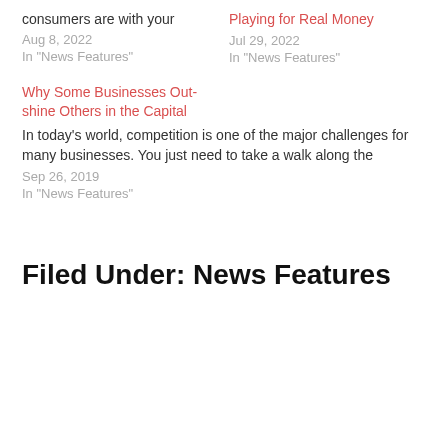consumers are with your
Aug 8, 2022
In "News Features"
Playing for Real Money
Jul 29, 2022
In "News Features"
Why Some Businesses Outshine Others in the Capital
In today's world, competition is one of the major challenges for many businesses. You just need to take a walk along the
Sep 26, 2019
In "News Features"
Filed Under: News Features